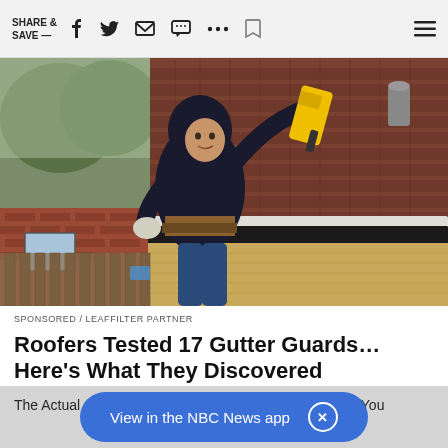SHARE & SAVE —
[Figure (photo): A roofer in a black hoodie and tool belt installing or adjusting a metal gutter on a house roof with brown shingles, using a yellow power drill. A backyard with a fence and red brick house is visible in the background.]
SPONSORED / LEAFFILTER PARTNER
Roofers Tested 17 Gutter Guards… Here's What They Discovered
The Actual Cost of Gutter Guards in 2022 May Surprise You
View in the NBC News app